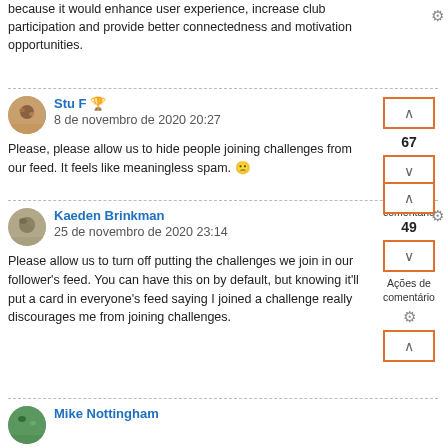because it would enhance user experience, increase club participation and provide better connectedness and motivation opportunities.
Stu F
8 de novembro de 2020 20:27
Please, please allow us to hide people joining challenges from our feed. It feels like meaningless spam. 🙁
67
Ações de comentário
Kaeden Brinkman
25 de novembro de 2020 23:14
Please allow us to turn off putting the challenges we join in our follower's feed. You can have this on by default, but knowing it'll put a card in everyone's feed saying I joined a challenge really discourages me from joining challenges.
49
Ações de comentário
Mike Nottingham